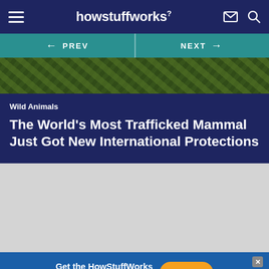howstuffworks
[Figure (screenshot): Navigation bar with PREV and NEXT buttons on teal background, and partial hero image of green foliage]
Wild Animals
The World's Most Trafficked Mammal Just Got New International Protections
[Figure (other): Grey placeholder content area]
Get the HowStuffWorks Newsletter!
Sign Up